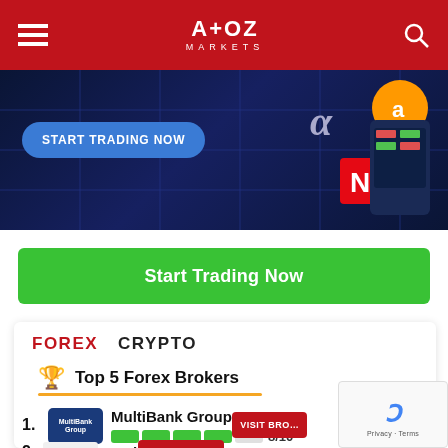A+OZ MARKETS
[Figure (screenshot): Dark blue trading banner with 'START TRADING NOW' button and app/crypto icons]
Start Trading Now
FOREX   CRYPTO
🏆 Top 5 Forex Brokers
1. MultiBank Group 8/10
2. Markets.com